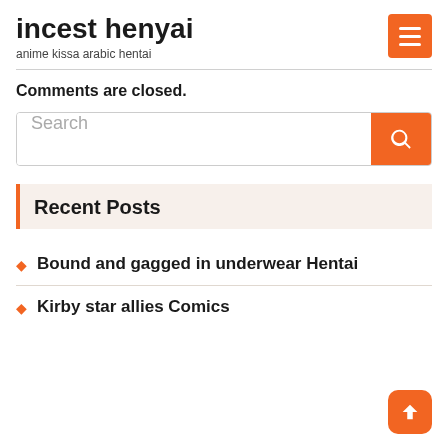incest henyai
anime kissa arabic hentai
Comments are closed.
Search
Recent Posts
Bound and gagged in underwear Hentai
Kirby star allies Comics